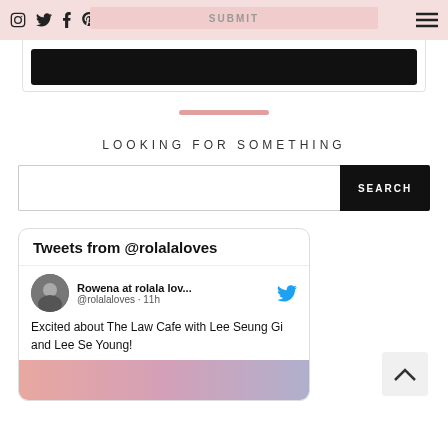Navigation bar with social icons and menu
[Figure (screenshot): Black submit button on a form]
[Figure (other): Horizontal pink/rose divider line]
LOOKING FOR SOMETHING
[Figure (screenshot): Search input field with black SEARCH button]
[Figure (screenshot): Twitter widget showing Tweets from @rolalaloves with a tweet by Rowena at rolala lov... @rolalaloves · 11h: Excited about The Law Cafe with Lee Seung Gi and Lee Se Young!]
[Figure (other): Back to top chevron arrow button]